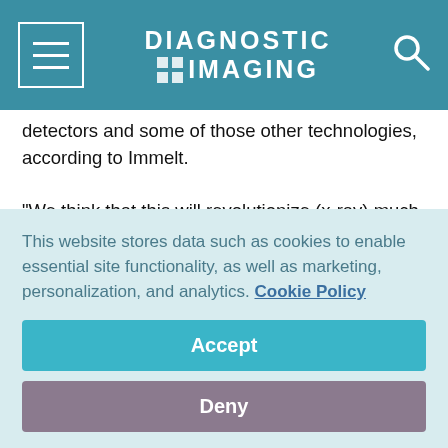DIAGNOSTIC IMAGING
detectors and some of those other technologies, according to Immelt.
"We think that this will revolutionize (x-ray) much the same way that CT and MR revolutionized the industry more than 10 years ago," he said. "It facilitates great clinical value, it allows for speed and quality of images and diagnosis, it allows for the elimination of film, it facilitates electronic archiving. It really helps drive digital technology further into the healthcare
This website stores data such as cookies to enable essential site functionality, as well as marketing, personalization, and analytics. Cookie Policy
Accept
Deny